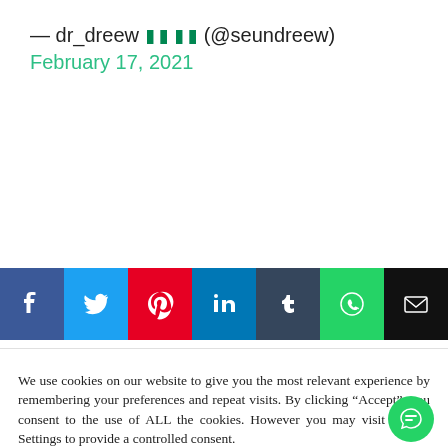— dr_dreew 🇳🇬 (@seundreew) February 17, 2021
[Figure (screenshot): Social media share bar with buttons for Facebook, Twitter, Pinterest, LinkedIn, Tumblr, WhatsApp, and Email]
We use cookies on our website to give you the most relevant experience by remembering your preferences and repeat visits. By clicking "Accept", you consent to the use of ALL the cookies. However you may visit Cookie Settings to provide a controlled consent.
Cookie settings   ACCEPT